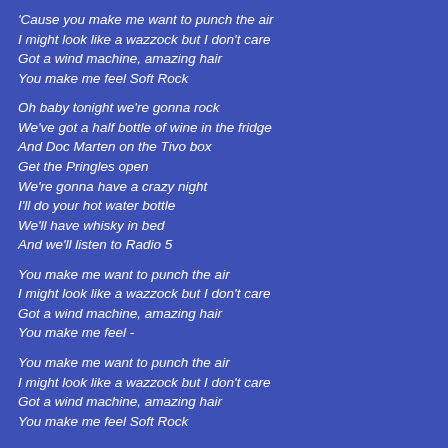'Cause you make me want to punch the air
I might look like a wazzock but I don't care
Got a wind machine, amazing hair
You make me feel Soft Rock
Oh baby tonight we're gonna rock
We've got a half bottle of wine in the fridge
And Doc Marten on the Tivo box
Get the Pringles open
We're gonna have a crazy night
I'll do your hot water bottle
We'll have whisky in bed
And we'll listen to Radio 5
You make me want to punch the air
I might look like a wazzock but I don't care
Got a wind machine, amazing hair
You make me feel -
You make me want to punch the air
I might look like a wazzock but I don't care
Got a wind machine, amazing hair
You make me feel Soft Rock